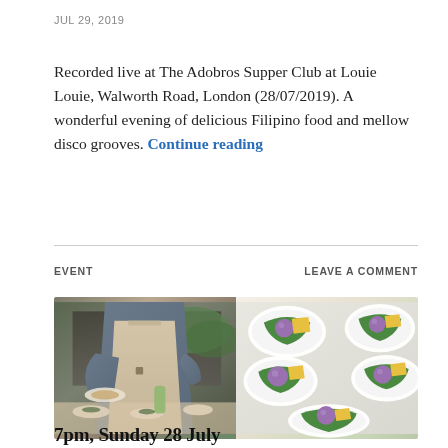JUL 29, 2019
Recorded live at The Adobros Supper Club at Louie Louie, Walworth Road, London (28/07/2019). A wonderful evening of delicious Filipino food and mellow disco grooves. Continue reading
EVENT
LEAVE A COMMENT
[Figure (photo): Two photos side by side: left shows a chef in a beige apron serving dishes at an outdoor event; right shows white plates with Filipino desserts on banana leaves.]
7pm, Sunday 28 July